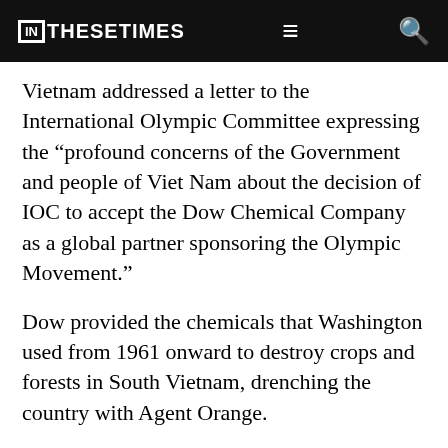IN THESE TIMES
Vietnam addressed a letter to the International Olympic Committee expressing the “profound concerns of the Government and people of Viet Nam about the decision of IOC to accept the Dow Chemical Company as a global partner sponsoring the Olympic Movement.”
Dow provided the chemicals that Washington used from 1961 onward to destroy crops and forests in South Vietnam, drenching the country with Agent Orange.
These poisons contain dioxin, one of the most lethal carcinogens known, affecting millions of Vietnamese and many U.S. soldiers. To this day in Vietnam,